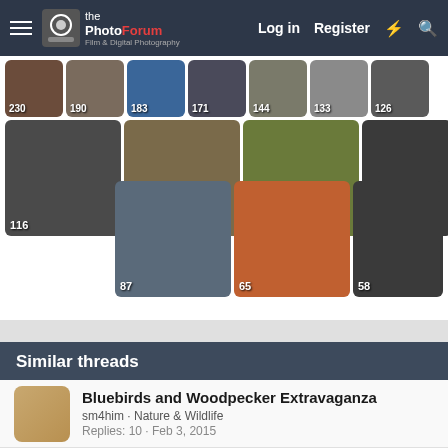ThePhotoForum · Film & Digital Photography | Log in | Register
[Figure (photo): Grid of photography forum thumbnail images with reply counts: 230, 190, 183, 171, 144, 133, 126, 116, 104, 103, 100, 87, 65, 58, 58]
Similar threads
Bluebirds and Woodpecker Extravaganza
sm4him · Nature & Wildlife
Replies: 10 · Feb 3, 2015
The Last Osprey
PropilotBW · Nature & Wildlife
Replies: 2 · May 25, 2015